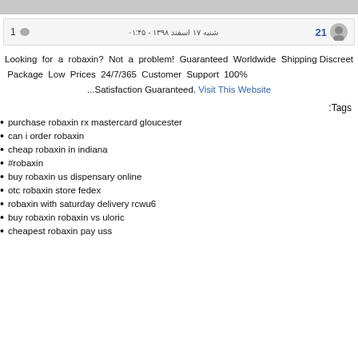[Figure (other): Top gray bar image/screenshot crop]
21  شنبه ۱۷ اسفند ۱۳۹۸ - ۰۱:۴۵  1 💬
Looking for a robaxin? Not a problem! Guaranteed Worldwide Shipping Discreet Package Low Prices 24/7/365 Customer Support 100% ...Satisfaction Guaranteed. Visit This Website
Tags:
purchase robaxin rx mastercard gloucester
can i order robaxin
cheap robaxin in indiana
#robaxin
buy robaxin us dispensary online
otc robaxin store fedex
robaxin with saturday delivery rcwu6
buy robaxin robaxin vs uloric
cheapest robaxin pay uss